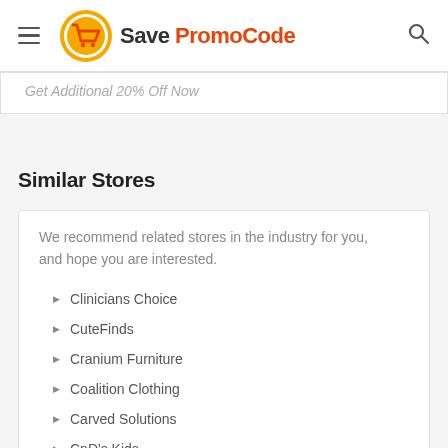Save PromoCode
Get Additional 20% Off Now
Similar Stores
We recommend related stores in the industry for you, and hope you are interested.
Clinicians Choice
CuteFinds
Cranium Furniture
Coalition Clothing
Carved Solutions
CnD's Kids
Cheekd.com
Centaurus Computers